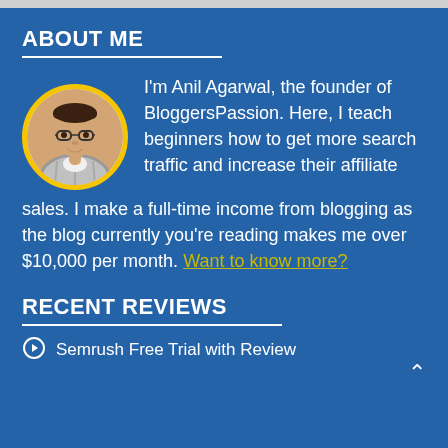ABOUT ME
[Figure (photo): Circular profile photo of Anil Agarwal with yellow border, showing a man with glasses in a white and striped shirt]
I'm Anil Agarwal, the founder of BloggersPassion. Here, I teach beginners how to get more search traffic and increase their affiliate sales. I make a full-time income from blogging as the blog currently you're reading makes me over $10,000 per month. Want to know more?
RECENT REVIEWS
Semrush Free Trial with Review